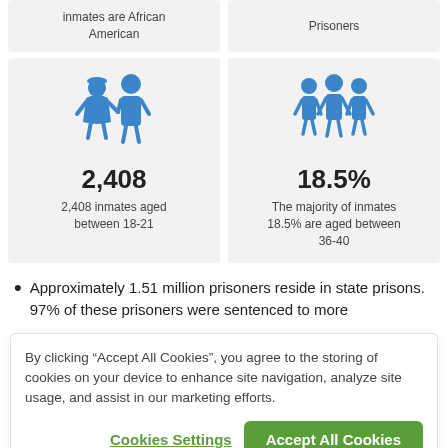[Figure (infographic): Two info cards at top. Left card shows partial text: 'inmates are African American'. Right card shows partial text: 'Prisoners'.]
[Figure (infographic): Left card: icon of child and adult figure holding hands (blue), stat 2,408 inmates aged between 18-21. Right card: icon of three adult figures (blue), stat 18.5% The majority of inmates 18.5% are aged between 36-40.]
Approximately 1.51 million prisoners reside in state prisons. 97% of these prisoners were sentenced to more
By clicking “Accept All Cookies”, you agree to the storing of cookies on your device to enhance site navigation, analyze site usage, and assist in our marketing efforts.
Cookies Settings | Accept All Cookies